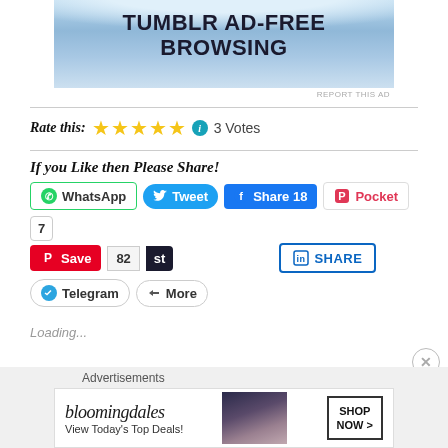[Figure (screenshot): Tumblr Ad-Free Browsing advertisement banner with blue water wave background]
REPORT THIS AD
Rate this: ★★★★★  3 Votes
If you Like then Please Share!
[Figure (screenshot): Social share buttons: WhatsApp, Tweet, Share 18, Pocket 7, Save 82, st, SHARE (LinkedIn), Telegram, More]
Loading...
Advertisements
[Figure (screenshot): Bloomingdales advertisement: View Today's Top Deals! SHOP NOW >]